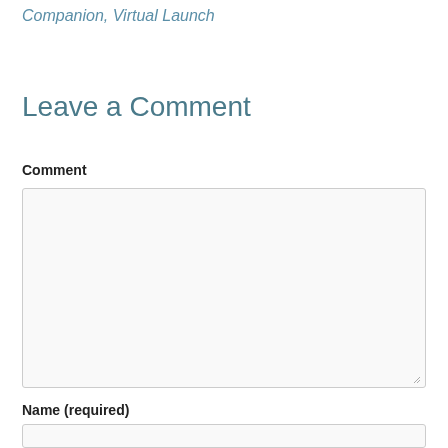Companion, Virtual Launch
Leave a Comment
Comment
Name (required)